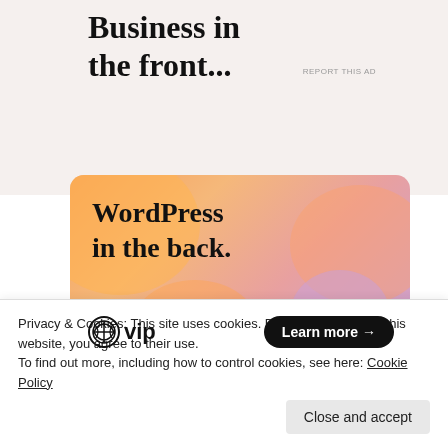Business in the front...
[Figure (illustration): WordPress VIP advertisement banner with orange/pink gradient background, decorative blobs, text 'WordPress in the back.', WordPress VIP logo, and 'Learn more' button]
REPORT THIS AD
Share this:
Twitter Facebook
Privacy & Cookies: This site uses cookies. By continuing to use this website, you agree to their use.
To find out more, including how to control cookies, see here: Cookie Policy
Close and accept